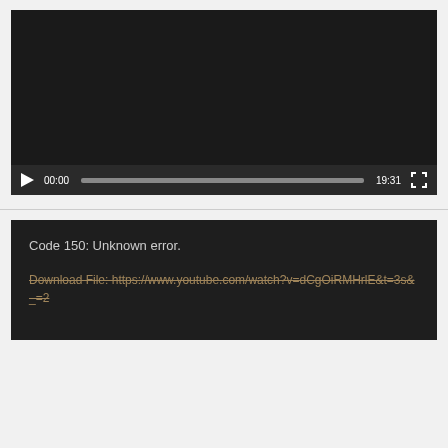[Figure (screenshot): Embedded video player with black screen area, playback controls showing play button, timecode 00:00, progress bar, duration 19:31, and fullscreen button]
[Figure (screenshot): Dark error box with text: Code 150: Unknown error. And a strikethrough download link: Download File: https://www.youtube.com/watch?v=dCgOiRMHrlE&t=3s&_=2]